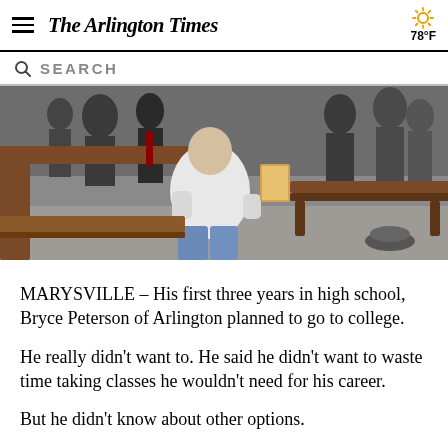The Arlington Times | 78°F
[Figure (photo): Interior photo of people sitting and standing near wooden benches/pews in what appears to be a gym or community hall. A person in a white hoodie and jeans is kneeling or sitting on a bench in the foreground.]
MARYSVILLE – His first three years in high school, Bryce Peterson of Arlington planned to go to college.
He really didn't want to. He said he didn't want to waste time taking classes he wouldn't need for his career.
But he didn't know about other options.